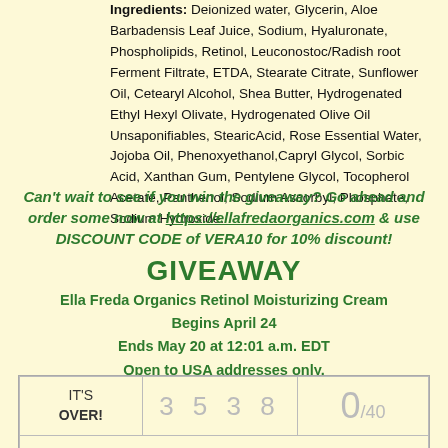Ingredients: Deionized water, Glycerin, Aloe Barbadensis Leaf Juice, Sodium, Hyaluronate, Phospholipids, Retinol, Leuconostoc/Radish root Ferment Filtrate, ETDA, Stearate Citrate, Sunflower Oil, Cetearyl Alcohol, Shea Butter, Hydrogenated Ethyl Hexyl Olivate, Hydrogenated Olive Oil Unsaponifiables, StearicAcid, Rose Essential Water, Jojoba Oil, Phenoxyethanol,Capryl Glycol, Sorbic Acid, Xanthan Gum, Pentylene Glycol, Tocopherol Acetate, Panthenol, Sodium Ascorbyl, Phosphate, Sodium Hydroxide.
Can't wait to see if you win the giveaway? Go ahead and order some now at https://ellafredaorganics.com & use DISCOUNT CODE of VERA10 for 10% discount!
GIVEAWAY
Ella Freda Organics Retinol Moisturizing Cream
Begins April 24
Ends May 20 at 12:01 a.m. EDT
Open to USA addresses only.
| IT'S OVER! | 3 5 3 8 | 0/40 |
|  |  |  |